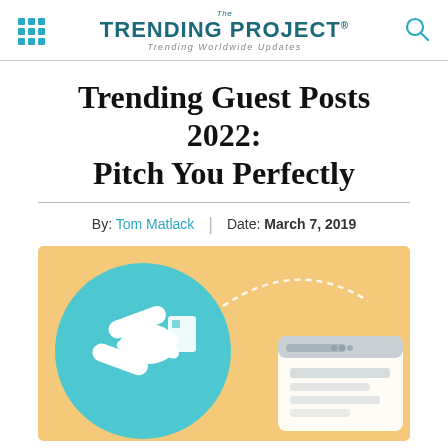The TRENDING PROJECT® | Trending Worldwide Updates
Trending Guest Posts 2022: Pitch You Perfectly
By: Tom Matlack | Date: March 7, 2019
[Figure (illustration): Infographic illustration on a yellow/peach background showing a teal circle with white handshake icon and a dashed arc line leading to a laptop/browser window illustration on the right]